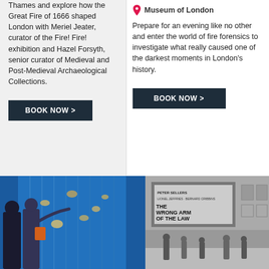Thames and explore how the Great Fire of 1666 shaped London with Meriel Jeater, curator of the Fire! Fire! exhibition and Hazel Forsyth, senior curator of Medieval and Post-Medieval Archaeological Collections.
BOOK NOW >
Museum of London
Prepare for an evening like no other and enter the world of fire forensics to investigate what really caused one of the darkest moments in London's history.
BOOK NOW >
[Figure (photo): Two people (a woman with red/orange bag and another person) viewing a blue-lit interactive museum exhibition display with suspended objects]
[Figure (photo): Black and white street scene outside a cinema with a marquee reading 'THE WRONG ARM OF THE LAW' with actors' names including Peter Sellers, Lionel Jeffries, Bernard Cribbins. People walking on the pavement outside.]